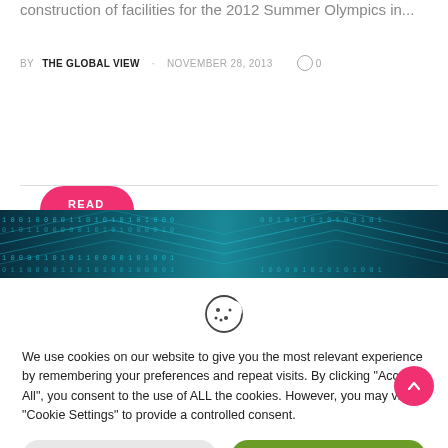construction of facilities for the 2012 Summer Olympics in...
BY THE GLOBAL VIEW   NOVEMBER 28, 2013   0
READ MORE
[Figure (photo): Dark teal banner with binary code / digital data stream pattern, chevron design in background]
[Figure (illustration): Cookie consent icon: circle outline with cookie bite shape, dots inside]
We use cookies on our website to give you the most relevant experience by remembering your preferences and repeat visits. By clicking “Accept All”, you consent to the use of ALL the cookies. However, you may visit “Cookie Settings” to provide a controlled consent.
Cookie Settings
Accept All